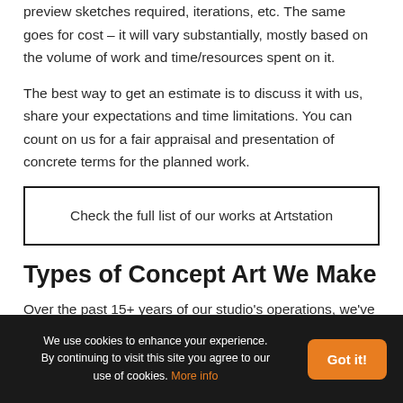preview sketches required, iterations, etc. The same goes for cost – it will vary substantially, mostly based on the volume of work and time/resources spent on it.
The best way to get an estimate is to discuss it with us, share your expectations and time limitations. You can count on us for a fair appraisal and presentation of concrete terms for the planned work.
Check the full list of our works at Artstation
Types of Concept Art We Make
Over the past 15+ years of our studio's operations, we've
We use cookies to enhance your experience. By continuing to visit this site you agree to our use of cookies. More info